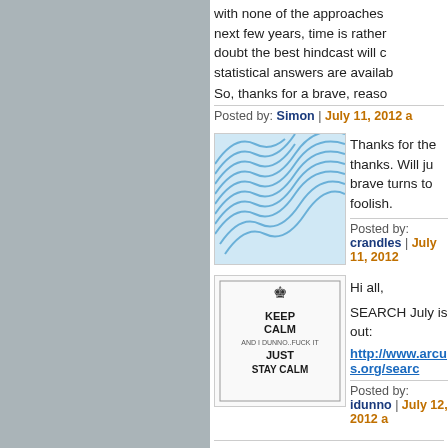with none of the approaches next few years, time is rather doubt the best hindcast will c statistical answers are availab
So, thanks for a brave, reaso
Posted by: Simon | July 11, 2012 a
[Figure (illustration): Blue wave-like pattern avatar image]
Thanks for the thanks. Will ju brave turns to foolish.
Posted by: crandles | July 11, 2012
[Figure (illustration): Keep Calm parody image: KEEP CALM AND I DUNNO FUCK IT JUST STAY CALM]
Hi all,

SEARCH July is out:
http://www.arcus.org/searc
Posted by: idunno | July 12, 2012 a
The comments to this entry are closed.